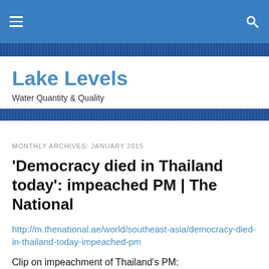Lake Levels — navigation bar
Lake Levels
Water Quantity & Quality
MONTHLY ARCHIVES: JANUARY 2015
'Democracy died in Thailand today': impeached PM | The National
http://m.thenational.ae/world/southeast-asia/democracy-died-in-thailand-today-impeached-pm
Clip on impeachment of Thailand's PM: